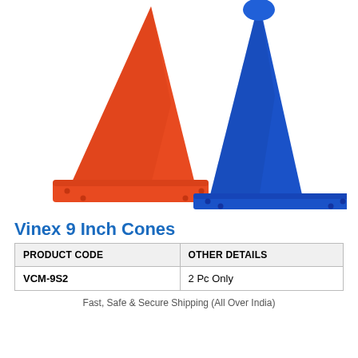[Figure (photo): Two sports marker cones side by side: one orange/red on the left and one blue on the right, both 9-inch plastic cones with square bases.]
Vinex 9 Inch Cones
| PRODUCT CODE | OTHER DETAILS |
| --- | --- |
| VCM-9S2 | 2 Pc Only |
Fast, Safe & Secure Shipping (All Over India)